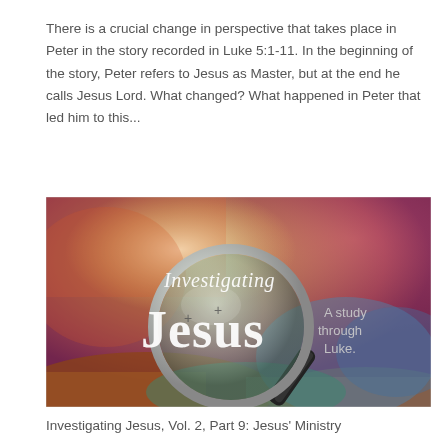There is a crucial change in perspective that takes place in Peter in the story recorded in Luke 5:1-11. In the beginning of the story, Peter refers to Jesus as Master, but at the end he calls Jesus Lord. What changed? What happened in Peter that led him to this...
[Figure (illustration): Promotional image for 'Investigating Jesus' series. A magnifying glass is centered over the word 'Jesus' in large stylized font. Above it reads 'Investigating' in white cursive text. To the right is text reading 'A study through Luke.' The background features colorful landscape imagery with warm tones of orange, red, yellow, and cool blues and greens.]
Investigating Jesus, Vol. 2, Part 9: Jesus' Ministry